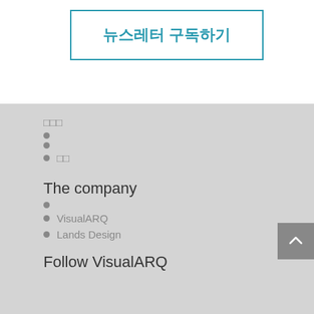뉴스레터 구독하기
□□□
•
•
• □□
The company
•
• VisualARQ
• Lands Design
Follow VisualARQ